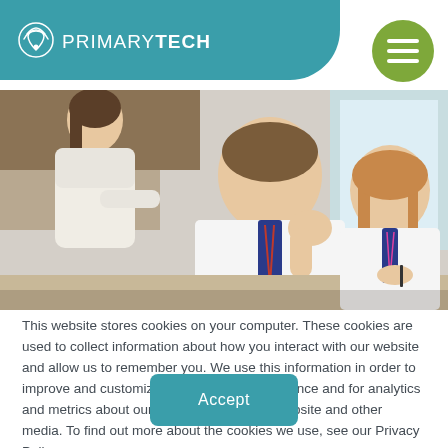[Figure (logo): PrimaryTech logo with teal rounded rectangle background, white wifi-style icon and text PRIMARYTECH]
[Figure (photo): Classroom photo showing a female teacher leaning over to help two teenage students in school uniforms with white shirts and striped ties, working at a desk]
This website stores cookies on your computer. These cookies are used to collect information about how you interact with our website and allow us to remember you. We use this information in order to improve and customize your browsing experience and for analytics and metrics about our visitors both on this website and other media. To find out more about the cookies we use, see our Privacy Policy
Accept